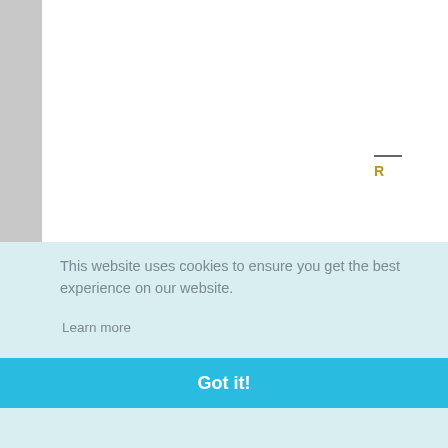[Figure (screenshot): Website screenshot showing a comment section with a cookie consent banner overlay. Left gray sidebar, main white content area, and right sidebar with comments numbered 33 and 34. Comment 33 has a female avatar and truncated text starting with 'oh it's kid sta'. A Reply link in gold/amber color. Comment 34 with truncated text starting 'You nep Mo'. Cookie banner overlays the lower portion with text 'This website uses cookies to ensure you get the best experience on our website.' and a 'Learn more' link, with a teal 'Got it!' button.]